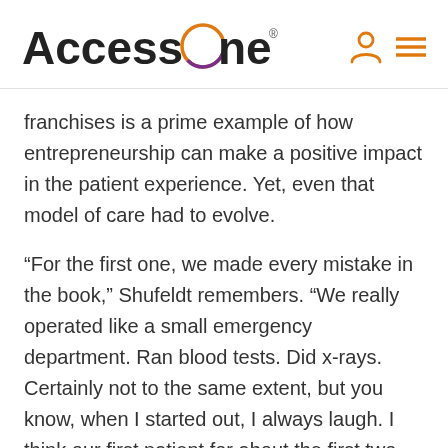[Figure (logo): AccessOne logo with orange and purple circle around the O, followed by user icon and hamburger menu icon in orange]
franchises is a prime example of how entrepreneurship can make a positive impact in the patient experience. Yet, even that model of care had to evolve.
“For the first one, we made every mistake in the book,” Shufeldt remembers. “We really operated like a small emergency department. Ran blood tests. Did x-rays. Certainly not to the same extent, but you know, when I started out, I always laugh. I think our first patient for about the first two months was a dog who wandered in. But, it was really just iterating as we went along, you know, making mistakes, solving them